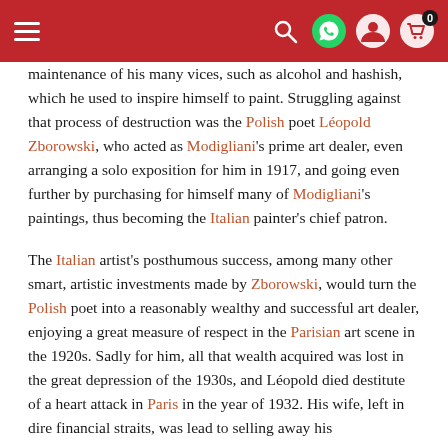≡  [search] [whatsapp] [user] [cart 0]
maintenance of his many vices, such as alcohol and hashish, which he used to inspire himself to paint. Struggling against that process of destruction was the Polish poet Léopold Zborowski, who acted as Modigliani's prime art dealer, even arranging a solo exposition for him in 1917, and going even further by purchasing for himself many of Modigliani's paintings, thus becoming the Italian painter's chief patron.
The Italian artist's posthumous success, among many other smart, artistic investments made by Zborowski, would turn the Polish poet into a reasonably wealthy and successful art dealer, enjoying a great measure of respect in the Parisian art scene in the 1920s. Sadly for him, all that wealth acquired was lost in the great depression of the 1930s, and Léopold died destitute of a heart attack in Paris in the year of 1932. His wife, left in dire financial straits, was lead to selling away his